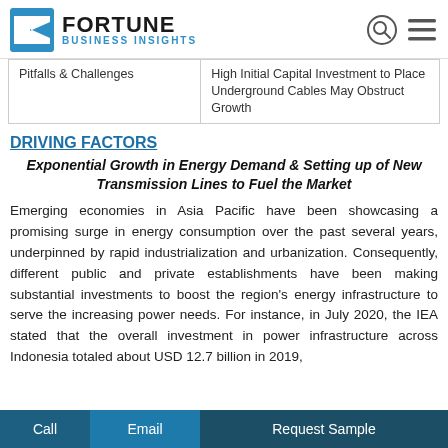Fortune Business Insights
| Pitfalls & Challenges | High Initial Capital Investment to Place Underground Cables May Obstruct Growth |
| --- | --- |
DRIVING FACTORS
Exponential Growth in Energy Demand & Setting up of New Transmission Lines to Fuel the Market
Emerging economies in Asia Pacific have been showcasing a promising surge in energy consumption over the past several years, underpinned by rapid industrialization and urbanization. Consequently, different public and private establishments have been making substantial investments to boost the region's energy infrastructure to serve the increasing power needs. For instance, in July 2020, the IEA stated that the overall investment in power infrastructure across Indonesia totaled about USD 12.7 billion in 2019,
Call   Email   Request Sample